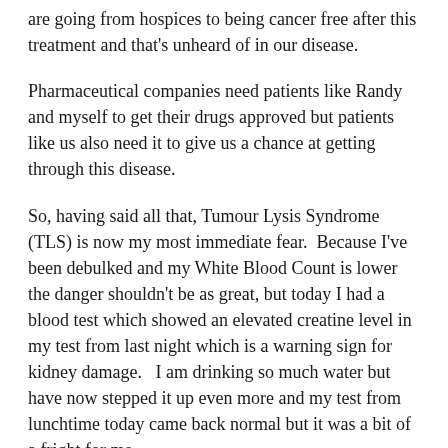are going from hospices to being cancer free after this treatment and that's unheard of in our disease.
Pharmaceutical companies need patients like Randy and myself to get their drugs approved but patients like us also need it to give us a chance at getting through this disease.
So, having said all that, Tumour Lysis Syndrome (TLS) is now my most immediate fear.  Because I've been debulked and my White Blood Count is lower the danger shouldn't be as great, but today I had a blood test which showed an elevated creatine level in my test from last night which is a warning sign for kidney damage.   I am drinking so much water but have now stepped it up even more and my test from lunchtime today came back normal but it was a bit of a fright for me.